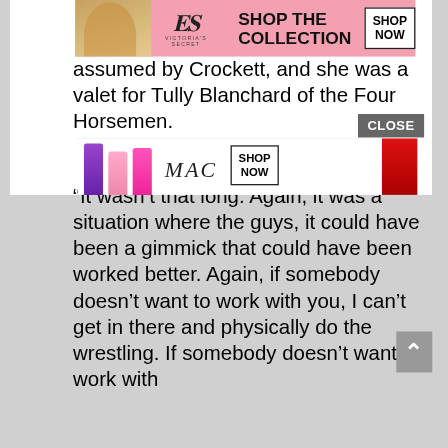[Figure (screenshot): Victoria's Secret advertisement banner with model, VS logo, 'SHOP THE COLLECTION' text and 'SHOP NOW' button on pink background]
assumed by Crockett, and she was a valet for Tully Blanchard of the Four Horsemen.
“It wasn’t that long. Again, it was a situation where the guys, it could have been a gimmick that could have been worked better. Again, if somebody doesn’t want to work with you, I can’t get in there and physically do the wrestling. If somebody doesn’t want to work with
[Figure (screenshot): MAC cosmetics advertisement banner with lipsticks, MAC logo, 'SHOP NOW' button and red lipstick on right]
CLOSE